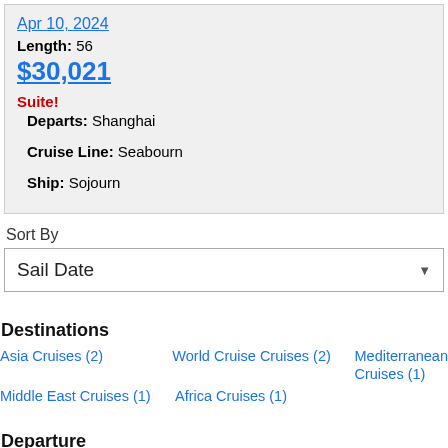| Apr 10, 2024 | Departs: Shanghai |
| Length: 56 | Cruise Line: Seabourn |
| $30,021 | Ship: Sojourn |
| Suite! |  |
Sort By
Sail Date
Destinations
Asia Cruises (2)
World Cruise Cruises (2)
Mediterranean Cruises (1)
Middle East Cruises (1)
Africa Cruises (1)
Departure
2022 Cruises
2023 Cruises
2024 Cruises